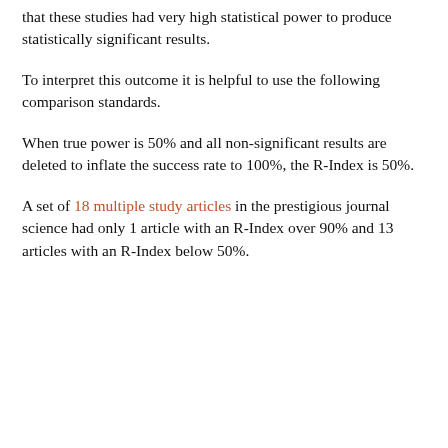that these studies had very high statistical power to produce statistically significant results.
To interpret this outcome it is helpful to use the following comparison standards.
When true power is 50% and all non-significant results are deleted to inflate the success rate to 100%, the R-Index is 50%.
A set of 18 multiple study articles in the prestigious journal science had only 1 article with an R-Index over 90% and 13 articles with an R-Index below 50%.